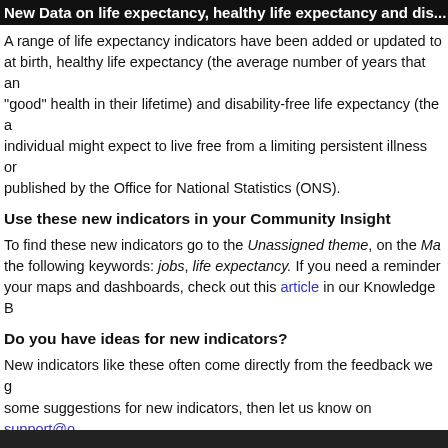New Data on life expectancy, healthy life expectancy and dis...
A range of life expectancy indicators have been added or updated to... at birth, healthy life expectancy (the average number of years that an... "good" health in their lifetime) and disability-free life expectancy (the a... individual might expect to live free from a limiting persistent illness or... published by the Office for National Statistics (ONS).
Use these new indicators in your Community Insight
To find these new indicators go to the Unassigned theme, on the Ma... the following keywords: jobs, life expectancy. If you need a reminder... your maps and dashboards, check out this article in our Knowledge B...
Do you have ideas for new indicators?
New indicators like these often come directly from the feedback we g... some suggestions for new indicators, then let us know on support@o... is open data and available at LSOA level then we will add it in to Com...